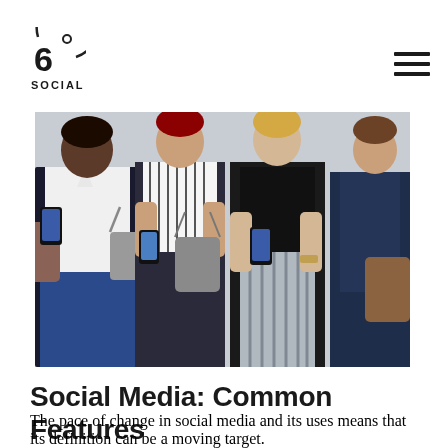6° Social [logo]
[Figure (photo): Four women standing against a wall, each looking down at their smartphones. From left to right: a woman in a white blouse and jeans, a woman in a striped sleeveless top with a grey shoulder bag, a woman in a black top with striped wide-leg pants, and a woman in a dark navy blazer.]
Social Media: Common Features
The pace of change in social media and its uses means that its definition can be a moving target.